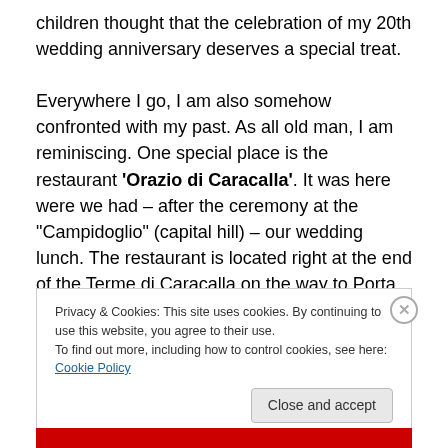children thought that the celebration of my 20th wedding anniversary deserves a special treat.

Everywhere I go, I am also somehow confronted with my past. As all old man, I am reminiscing. One special place is the restaurant 'Orazio di Caracalla'. It was here were we had – after the ceremony at the "Campidoglio" (capital hill) – our wedding lunch. The restaurant is located right at the end of the Terme di Caracalla on the way to Porta Latina. It has a splendid garden and a big car park with old trees.
Privacy & Cookies: This site uses cookies. By continuing to use this website, you agree to their use.
To find out more, including how to control cookies, see here: Cookie Policy